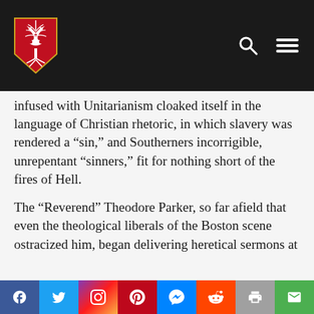Abbeville Institute — site header with logo and navigation icons
infused with Unitarianism cloaked itself in the language of Christian rhetoric, in which slavery was rendered a “sin,” and Southerners incorrigible, unrepentant “sinners,” fit for nothing short of the fires of Hell.
The “Reverend” Theodore Parker, so far afield that even the theological liberals of the Boston scene ostracized him, began delivering heretical sermons at
Social share bar: Facebook, Twitter, Instagram, Pinterest, Messenger, Reddit, Print, Email